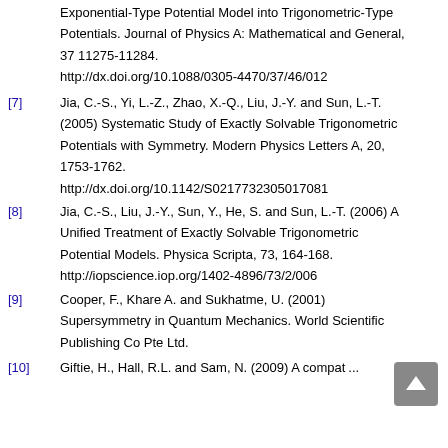Exponential-Type Potential Model into Trigonometric-Type Potentials. Journal of Physics A: Mathematical and General, 37 11275-11284. http://dx.doi.org/10.1088/0305-4470/37/46/012
[7] Jia, C.-S., Yi, L.-Z., Zhao, X.-Q., Liu, J.-Y. and Sun, L.-T. (2005) Systematic Study of Exactly Solvable Trigonometric Potentials with Symmetry. Modern Physics Letters A, 20, 1753-1762. http://dx.doi.org/10.1142/S0217732305017081
[8] Jia, C.-S., Liu, J.-Y., Sun, Y., He, S. and Sun, L.-T. (2006) A Unified Treatment of Exactly Solvable Trigonometric Potential Models. Physica Scripta, 73, 164-168. http://iopscience.iop.org/1402-4896/73/2/006
[9] Cooper, F., Khare A. and Sukhatme, U. (2001) Supersymmetry in Quantum Mechanics. World Scientific Publishing Co Pte Ltd.
[10] (partial, cut off)